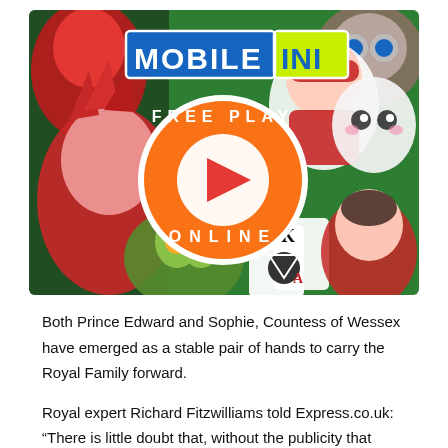[Figure (illustration): Mobile INI gaming advertisement banner showing cartoon characters and a large orange circle with FREE PLAY ONLINE text and a play button triangle in the center. Logo reads MOBILE INI in blue and yellow-green colors.]
Both Prince Edward and Sophie, Countess of Wessex have emerged as a stable pair of hands to carry the Royal Family forward.
Royal expert Richard Fitzwilliams told Express.co.uk: “There is little doubt that, without the publicity that accompanies the activities of other senior royals, the